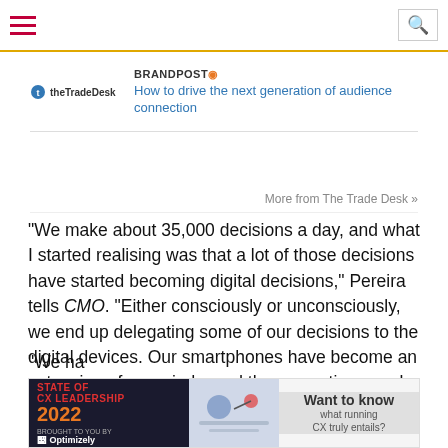Navigation bar with hamburger menu and search icon
[Figure (logo): theTradeDesk logo with circular icon]
BRANDPOST! How to drive the next generation of audience connection
More from The Trade Desk »
“We make about 35,000 decisions a day, and what I started realising was that a lot of those decisions have started becoming digital decisions,” Pereira tells CMO. “Either consciously or unconsciously, we end up delegating some of our decisions to the digital devices. Our smartphones have become an extension of our minds, and they sometimes make decisions on our behalf.”
Whereas nudge theory in its original form postulates the placement of objects or signals in physical world might influence consumer behaviour, Pereira says the same holds true digitally.
“We ha... n our
[Figure (infographic): Advertisement banner: State of CX Leadership 2022, brought to you by Optimizely, with illustration and 'Want to know what running CX truly entails?' text]